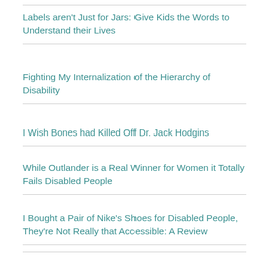Labels aren't Just for Jars: Give Kids the Words to Understand their Lives
Fighting My Internalization of the Hierarchy of Disability
I Wish Bones had Killed Off Dr. Jack Hodgins
While Outlander is a Real Winner for Women it Totally Fails Disabled People
I Bought a Pair of Nike's Shoes for Disabled People, They're Not Really that Accessible: A Review